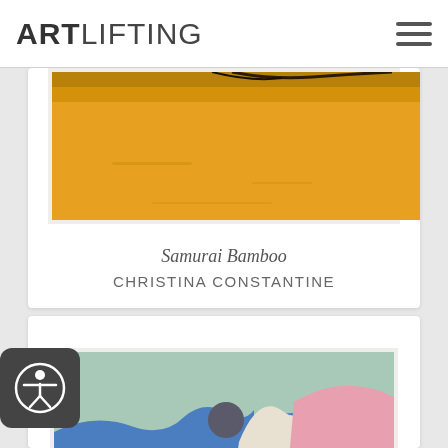ARTLIFTING
[Figure (photo): Partial view of a painting with orange/yellow tones - 'Samurai Bamboo' by Christina Constantine]
Samurai Bamboo
CHRISTINA CONSTANTINE
[Figure (photo): Colorful abstract painting with mountains, blue waves, pink and orange shapes, and a yellow triangle]